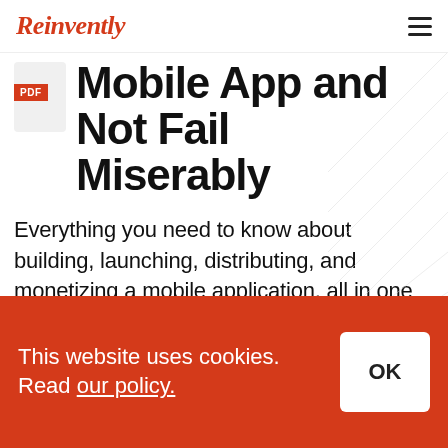Reinvently
[Figure (other): PDF document icon with red PDF badge label]
Mobile App and Not Fail Miserably
Everything you need to know about building, launching, distributing, and monetizing a mobile application, all in one easy-to-read e-book
This website uses cookies. Read our policy.